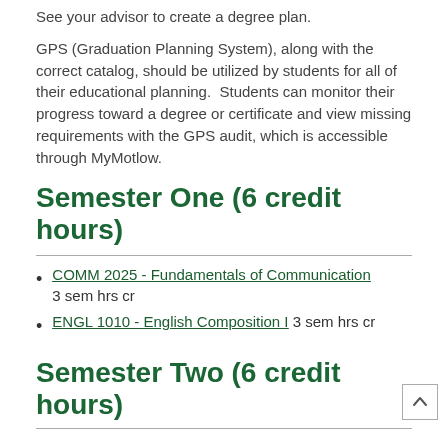See your advisor to create a degree plan.
GPS (Graduation Planning System), along with the correct catalog, should be utilized by students for all of their educational planning.  Students can monitor their progress toward a degree or certificate and view missing requirements with the GPS audit, which is accessible through MyMotlow.
Semester One (6 credit hours)
COMM 2025 - Fundamentals of Communication 3 sem hrs cr
ENGL 1010 - English Composition I 3 sem hrs cr
Semester Two (6 credit hours)